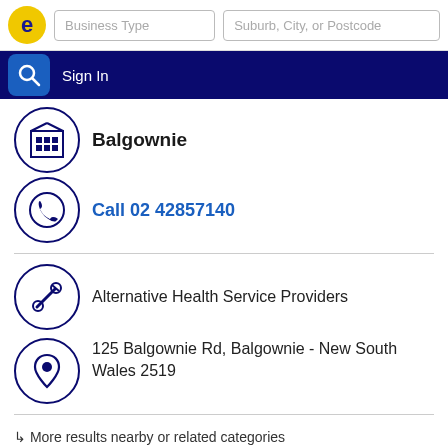[Figure (screenshot): Website header with logo, Business Type search input, Suburb/City/Postcode search input, blue nav bar with search button and Sign In link]
Balgownie
Call 02 42857140
Alternative Health Service Providers
125 Balgownie Rd, Balgownie - New South Wales 2519
↳ More results nearby or related categories
Alternative Medicine Balgownie NSW
Sharon Harley Massage